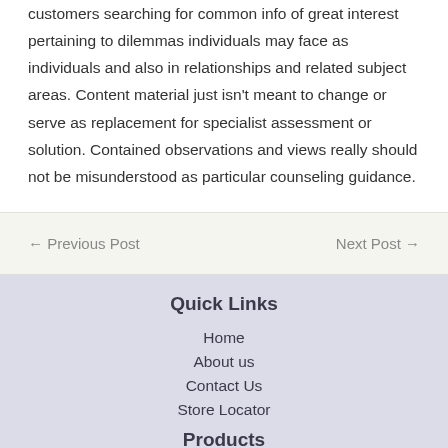customers searching for common info of great interest pertaining to dilemmas individuals may face as individuals and also in relationships and related subject areas. Content material just isn't meant to change or serve as replacement for specialist assessment or solution. Contained observations and views really should not be misunderstood as particular counseling guidance.
← Previous Post    Next Post →
Quick Links
Home
About us
Contact Us
Store Locator
Products